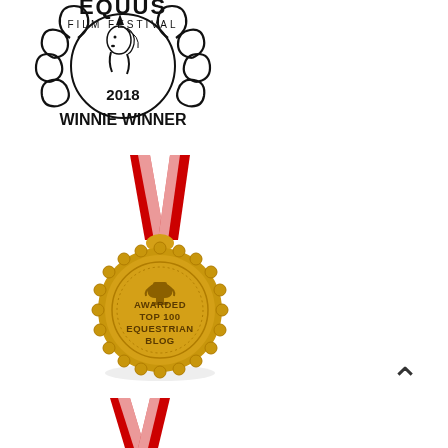[Figure (logo): EQUUS Film Festival 2018 Winnie Winner badge — circular logo with horseshoes arranged in a wreath, unicorn head in center, text '2018' below the circle, and 'WINNIE WINNER' in bold text beneath]
[Figure (illustration): Gold award medal with red and white ribbon/lanyard in a V-shape at top. The gold scalloped medal reads 'AWARDED TOP 100 EQUESTRIAN BLOG' with a trophy icon at top center and dotted border ring. Shadow below medal.]
[Figure (illustration): Partial view of a second red and white ribbon/lanyard V-shape at the bottom of the page, cut off at page edge.]